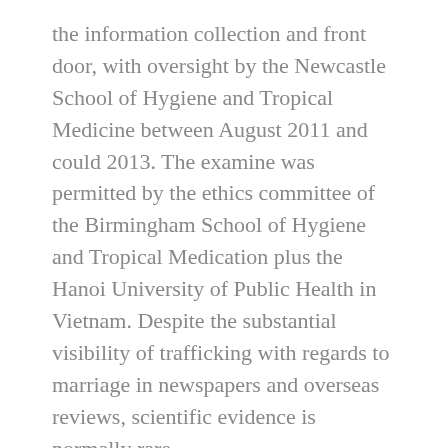the information collection and front door, with oversight by the Newcastle School of Hygiene and Tropical Medicine between August 2011 and could 2013. The examine was permitted by the ethics committee of the Birmingham School of Hygiene and Tropical Medication plus the Hanoi University of Public Health in Vietnam. Despite the substantial visibility of trafficking with regards to marriage in newspapers and overseas reviews, scientific evidence is normally rare.
The query is obviously affordable since just being Western man is obviously not enough to win the center of a Thai woman with regards to marriage. Shall we find out what kind of men like charming real Vietnamese wives. Anni was 36-years-old and labored being a translator in Nonghuai. Footnote 10 Your sweetheart went to Cina in 2010. Ahead of that, your lady labored in Hong Kong for the